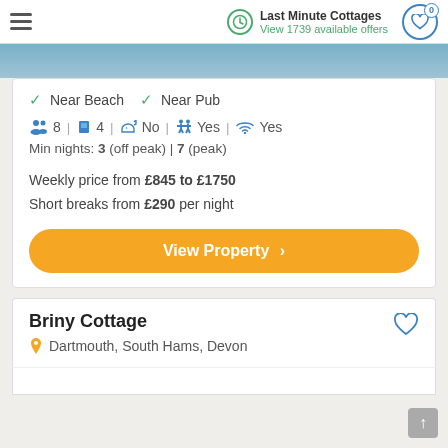Last Minute Cottages — View 1739 available offers
✓ Near Beach  ✓ Near Pub
8 | 4 | No | Yes | Yes
Min nights: 3 (off peak) | 7 (peak)
Weekly price from £845 to £1750
Short breaks from £290 per night
View Property >
Briny Cottage
Dartmouth, South Hams, Devon